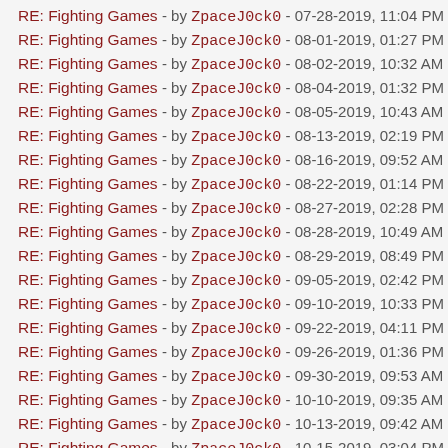RE: Fighting Games - by ZpaceJ0ck0 - 07-28-2019, 11:04 PM
RE: Fighting Games - by ZpaceJ0ck0 - 08-01-2019, 01:27 PM
RE: Fighting Games - by ZpaceJ0ck0 - 08-02-2019, 10:32 AM
RE: Fighting Games - by ZpaceJ0ck0 - 08-04-2019, 01:32 PM
RE: Fighting Games - by ZpaceJ0ck0 - 08-05-2019, 10:43 AM
RE: Fighting Games - by ZpaceJ0ck0 - 08-13-2019, 02:19 PM
RE: Fighting Games - by ZpaceJ0ck0 - 08-16-2019, 09:52 AM
RE: Fighting Games - by ZpaceJ0ck0 - 08-22-2019, 01:14 PM
RE: Fighting Games - by ZpaceJ0ck0 - 08-27-2019, 02:28 PM
RE: Fighting Games - by ZpaceJ0ck0 - 08-28-2019, 10:49 AM
RE: Fighting Games - by ZpaceJ0ck0 - 08-29-2019, 08:49 PM
RE: Fighting Games - by ZpaceJ0ck0 - 09-05-2019, 02:42 PM
RE: Fighting Games - by ZpaceJ0ck0 - 09-10-2019, 10:33 PM
RE: Fighting Games - by ZpaceJ0ck0 - 09-22-2019, 04:11 PM
RE: Fighting Games - by ZpaceJ0ck0 - 09-26-2019, 01:36 PM
RE: Fighting Games - by ZpaceJ0ck0 - 09-30-2019, 09:53 AM
RE: Fighting Games - by ZpaceJ0ck0 - 10-10-2019, 09:35 AM
RE: Fighting Games - by ZpaceJ0ck0 - 10-13-2019, 09:42 AM
RE: Fighting Games - by ZpaceJ0ck0 - 10-15-2019, 03:04 PM
RE: Fighting Games - by ZpaceJ0ck0 - 10-27-2019, 06:01 PM
RE: Fighting Games - by ZpaceJ0ck0 - 11-03-2019, 10:13 AM
RE: Fighting Games - by ZpaceJ0ck0 - 11-05-2019, 01:49 PM
RE: Fighting Games - by ZpaceJ0ck0 - 11-10-2019, 10:36 PM
RE: Fighting Games - by ZpaceJ0ck0 - 11-14-2019, 03:09 PM
RE: Fighting Games - by ZpaceJ0ck0 - 11-17-2019, 11:09 PM